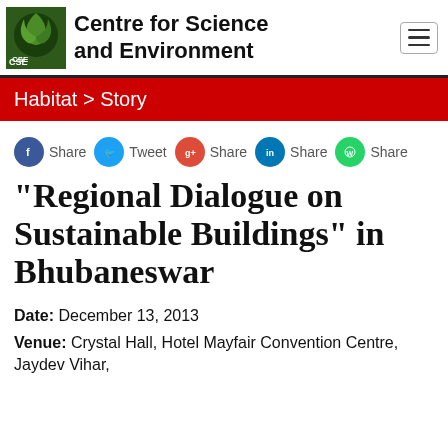Centre for Science and Environment
Habitat > Story
[Figure (infographic): Social share buttons row: Facebook Share, Twitter Tweet, Google+ Share, LinkedIn Share, WhatsApp Share]
"Regional Dialogue on Sustainable Buildings" in Bhubaneswar
Date: December 13, 2013
Venue: Crystal Hall, Hotel Mayfair Convention Centre, Jaydev Vihar,